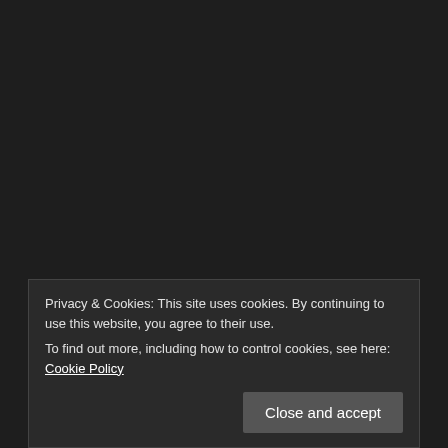It's not only about beaches
Valencian Community / 0 comments
Privacy & Cookies: This site uses cookies. By continuing to use this website, you agree to their use.
To find out more, including how to control cookies, see here: Cookie Policy
Close and accept